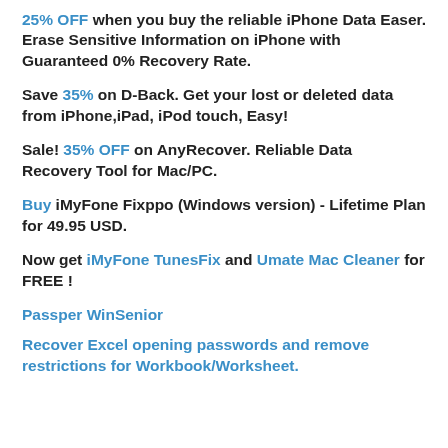25% OFF when you buy the reliable iPhone Data Easer. Erase Sensitive Information on iPhone with Guaranteed 0% Recovery Rate.
Save 35% on D-Back. Get your lost or deleted data from iPhone,iPad, iPod touch, Easy!
Sale! 35% OFF on AnyRecover. Reliable Data Recovery Tool for Mac/PC.
Buy iMyFone Fixppo (Windows version) - Lifetime Plan for 49.95 USD.
Now get iMyFone TunesFix and Umate Mac Cleaner for FREE !
Passper WinSenior
Recover Excel opening passwords and remove restrictions for Workbook/Worksheet.